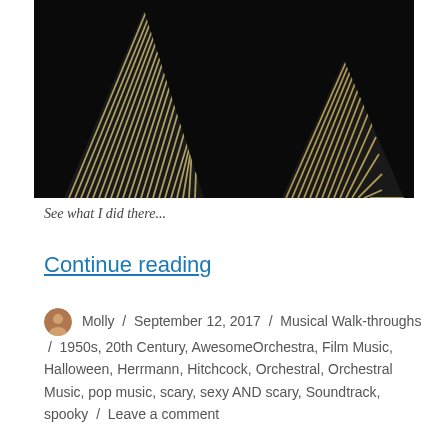[Figure (photo): Dark image showing two illuminated triangular/angular shapes with horizontal striping patterns against a black background, resembling violin or orchestral instrument fins or architectural forms.]
See what I did there...
Continue reading
Molly / September 12, 2017 / Musical Walk-throughs / 1950s, 20th Century, AwesomeOrchestra, Film Music, Halloween, Herrmann, Hitchcock, Orchestral, Orchestral Music, pop music, scary, sexy AND scary, Soundtrack, spooky / Leave a comment